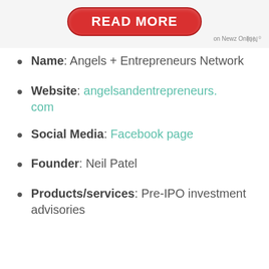[Figure (other): Red pill-shaped READ MORE button with white bold text, and 'on Newz Online' text to the right]
Name: Angels + Entrepreneurs Network
Website: angelsandentrepreneurs.com
Social Media: Facebook page
Founder: Neil Patel
Products/services: Pre-IPO investment advisories